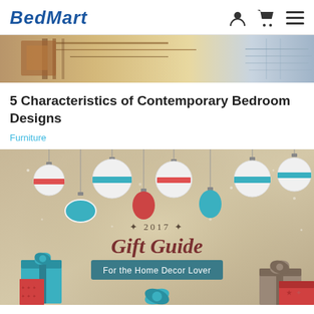BedMart
[Figure (photo): Partial bedroom/furniture design image strip at top of page]
5 Characteristics of Contemporary Bedroom Designs
Furniture
[Figure (illustration): 2017 Gift Guide For the Home Decor Lover - festive illustration with Christmas ornaments and gift boxes in teal/red/cream color scheme]